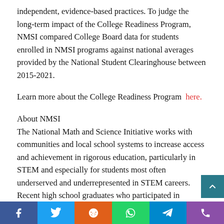independent, evidence-based practices. To judge the long-term impact of the College Readiness Program, NMSI compared College Board data for students enrolled in NMSI programs against national averages provided by the National Student Clearinghouse between 2015-2021.
Learn more about the College Readiness Program here.
About NMSI
The National Math and Science Initiative works with communities and local school systems to increase access and achievement in rigorous education, particularly in STEM and especially for students most often underserved and underrepresented in STEM careers. Recent high school graduates who participated in NMSI's flagship College Readiness Program were more likely than their